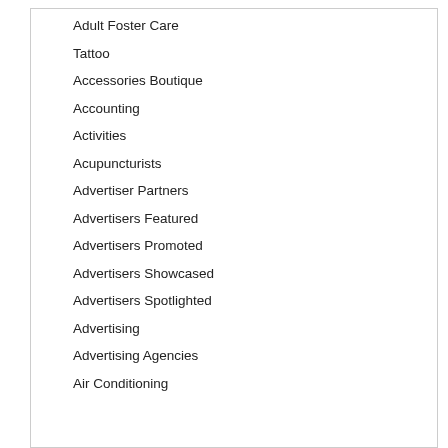Adult Foster Care
Tattoo
Accessories Boutique
Accounting
Activities
Acupuncturists
Advertiser Partners
Advertisers Featured
Advertisers Promoted
Advertisers Showcased
Advertisers Spotlighted
Advertising
Advertising Agencies
Air Conditioning